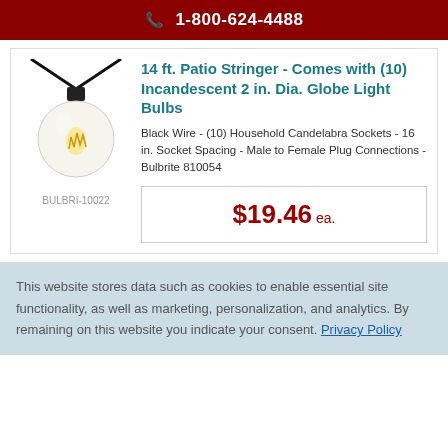1-800-624-4488
[Figure (photo): String light with a globe bulb hanging from black wire, showing incandescent filament inside clear glass globe]
BULBRI-10022
14 ft. Patio Stringer - Comes with (10) Incandescent 2 in. Dia. Globe Light Bulbs
Black Wire - (10) Household Candelabra Sockets - 16 in. Socket Spacing - Male to Female Plug Connections - Bulbrite 810054
$19.46 ea.
This website stores data such as cookies to enable essential site functionality, as well as marketing, personalization, and analytics. By remaining on this website you indicate your consent. Privacy Policy